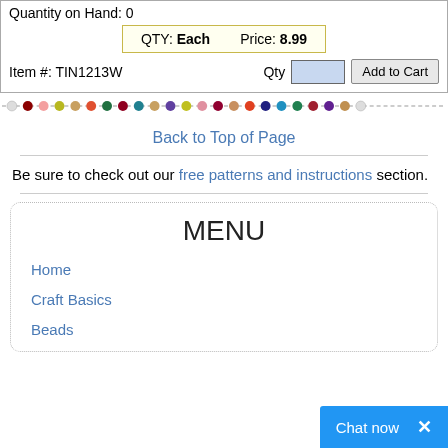Quantity on Hand: 0
QTY: Each   Price: 8.99
Item #: TIN1213W   Qty [input]   Add to Cart
[Figure (illustration): Decorative bead divider line with colorful round beads in various colors connected by dashes]
Back to Top of Page
Be sure to check out our free patterns and instructions section.
MENU
Home
Craft Basics
Beads
Chat now ×